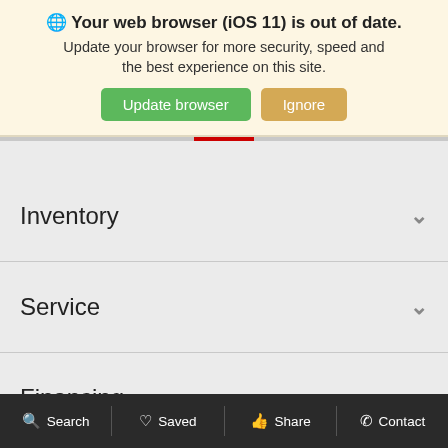🌐 Your web browser (iOS 11) is out of date. Update your browser for more security, speed and the best experience on this site.
Update browser | Ignore
Inventory
Service
Financing
About
Search  Saved  Share  Contact